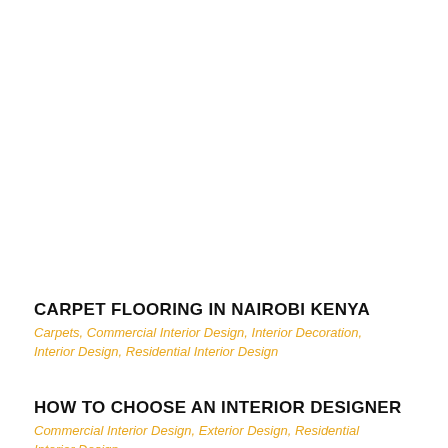CARPET FLOORING IN NAIROBI KENYA
Carpets, Commercial Interior Design, Interior Decoration, Interior Design, Residential Interior Design
HOW TO CHOOSE AN INTERIOR DESIGNER
Commercial Interior Design, Exterior Design, Residential Interior Design